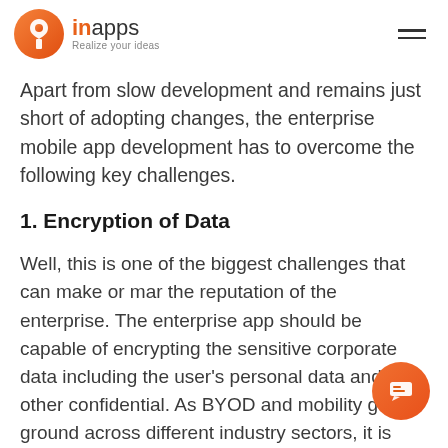inapps – Realize your ideas
Apart from slow development and remains just short of adopting changes, the enterprise mobile app development has to overcome the following key challenges.
1. Encryption of Data
Well, this is one of the biggest challenges that can make or mar the reputation of the enterprise. The enterprise app should be capable of encrypting the sensitive corporate data including the user's personal data and other confidential. As BYOD and mobility gain ground across different industry sectors, it is necessary